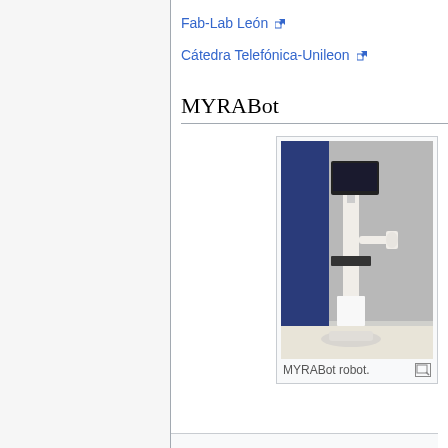Fab-Lab León
Cátedra Telefónica-Unileon
MYRABot
[Figure (photo): MYRABot robot — a white robotic assistant on a wheeled base with a monitor on top and a robotic arm on the side, photographed against a blue and grey background.]
MYRABot robot.